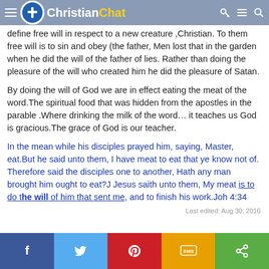ChristianChat
define free will in respect to a new creature ,Christian. To them free will is to sin and obey (the father, Men lost that in the garden when he did the will of the father of lies. Rather than doing the pleasure of the will who created him he did the pleasure of Satan.
By doing the will of God we are in effect eating the meat of the word.The spiritual food that was hidden from the apostles in the parable .Where drinking the milk of the word… it teaches us God is gracious.The grace of God is our teacher.
In the mean while his disciples prayed him, saying, Master, eat.But he said unto them, I have meat to eat that ye know not of. Therefore said the disciples one to another, Hath any man brought him ought to eat?J Jesus saith unto them, My meat is to do the will of him that sent me, and to finish his work.Joh 4:34
Last edited: Aug 30, 2016